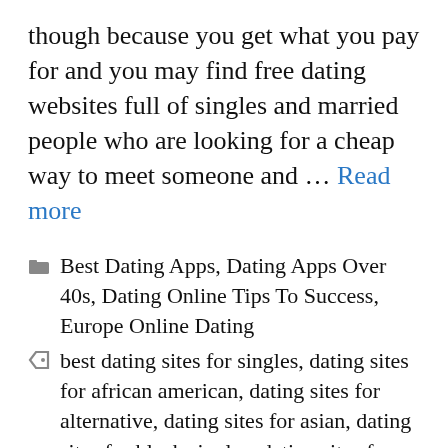though because you get what you pay for and you may find free dating websites full of singles and married people who are looking for a cheap way to meet someone and … Read more
Categories: Best Dating Apps, Dating Apps Over 40s, Dating Online Tips To Success, Europe Online Dating
Tags: best dating sites for singles, dating sites for african american, dating sites for alternative, dating sites for asian, dating sites for black singles, dating sites for country singles, dating sites for singles free, dating sites for singles in usa, dating sites for singles near me, dating